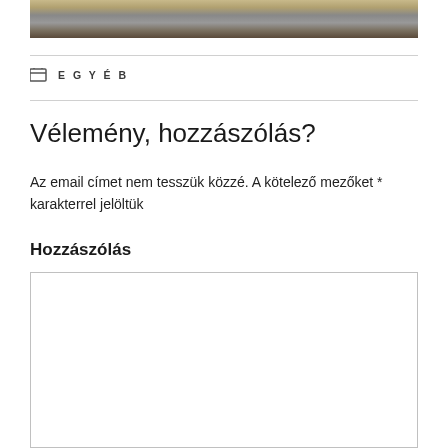[Figure (photo): Partial bottom edge of a military vehicle or machinery photo, showing mechanical components in beige/grey tones.]
EGYÉB
Vélemény, hozzászólás?
Az email címet nem tesszük közzé. A kötelező mezőket * karakterrel jelöltük
Hozzászólás